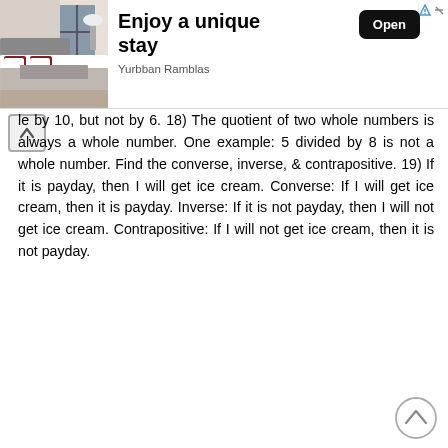[Figure (photo): Advertisement banner showing a hotel bedroom with bed and red pillows, with text 'Enjoy a unique stay', 'Yurbban Ramblas', and an 'Open' button]
le by 10, but not by 6. 18) The quotient of two whole numbers is always a whole number. One example: 5 divided by 8 is not a whole number. Find the converse, inverse, & contrapositive. 19) If it is payday, then I will get ice cream. Converse: If I will get ice cream, then it is payday. Inverse: If it is not payday, then I will not get ice cream. Contrapositive: If I will not get ice cream, then it is not payday.